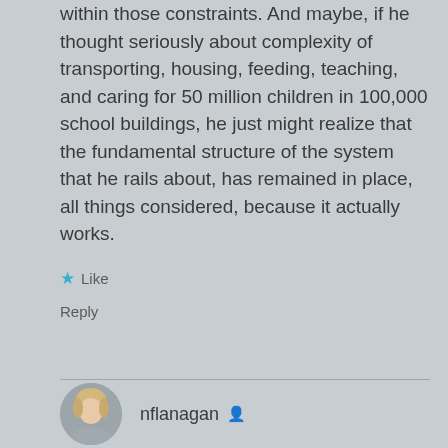within those constraints. And maybe, if he thought seriously about complexity of transporting, housing, feeding, teaching, and caring for 50 million children in 100,000 school buildings, he just might realize that the fundamental structure of the system that he rails about, has remained in place, all things considered, because it actually works.
Like
Reply
nflanagan